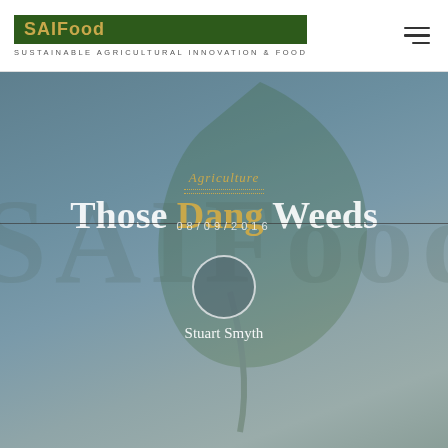SAIFood — SUSTAINABLE AGRICULTURAL INNOVATION & FOOD
[Figure (illustration): Hero banner with blueish-grey gradient background, large watermark leaf illustration and SAIFood lettermark text overlay in background]
Agriculture
Those Dang Weeds
08/09/2016
[Figure (photo): Circular avatar placeholder for author Stuart Smyth]
Stuart Smyth